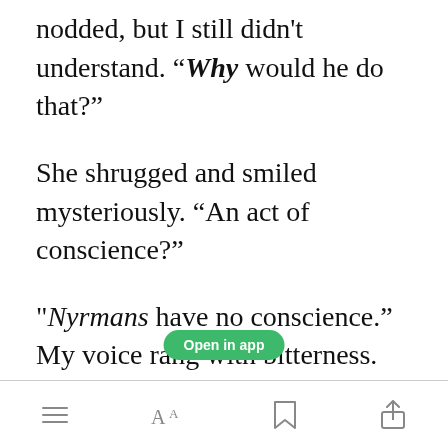nodded, but I still didn't understand. “Why would he do that?”
She shrugged and smiled mysteriously. “An act of conscience?”
"Nyrmans have no conscience.” My voice rang with bitterness.
[Figure (screenshot): Green 'Open in app' button overlay]
Menu | Font size | Bookmark | Share